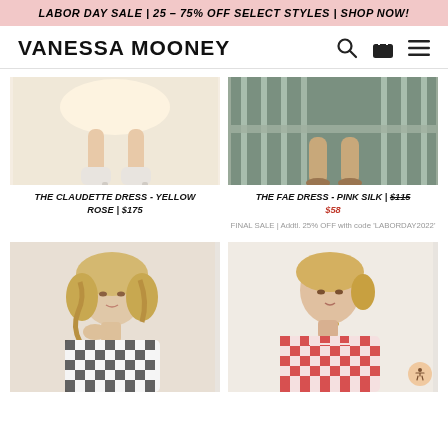LABOR DAY SALE | 25 – 75% OFF SELECT STYLES | SHOP NOW!
VANESSA MOONEY
[Figure (photo): Product photo of The Claudette Dress - Yellow Rose, showing model's legs with white boots]
THE CLAUDETTE DRESS - YELLOW ROSE | $175
[Figure (photo): Product photo of The Fae Dress - Pink Silk, showing model's legs on a balcony]
THE FAE DRESS - PINK SILK | $115 $58
FINAL SALE | Addtl. 25% OFF with code 'LABORDAY2022'
[Figure (photo): Product photo of model in black and white gingham dress]
[Figure (photo): Product photo of model in red and white gingham dress]